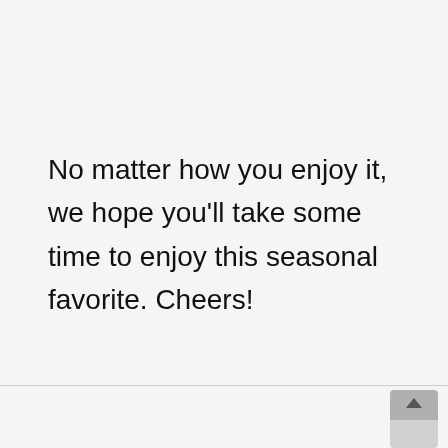No matter how you enjoy it, we hope you'll take some time to enjoy this seasonal favorite. Cheers!